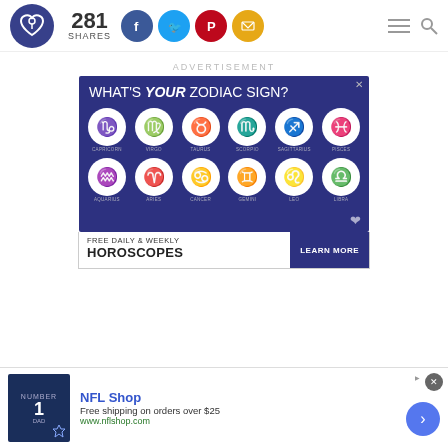281 SHARES — social sharing header with logo
ADVERTISEMENT
[Figure (infographic): Zodiac sign advertisement: 'WHAT'S YOUR ZODIAC SIGN?' on dark blue background with 12 zodiac symbol circles: CAPRICORN, VIRGO, TAURUS, SCORPIO, SAGITTARIUS, PISCES (top row), AQUARIUS, ARIES, CANCER, GEMINI, LEO, LIBRA (bottom row)]
[Figure (infographic): Horoscope ad strip: 'FREE DAILY & WEEKLY HOROSCOPES' with 'LEARN MORE' button]
[Figure (infographic): NFL Shop bottom advertisement: logo image, 'NFL Shop', 'Free shipping on orders over $25', 'www.nflshop.com' with arrow button]